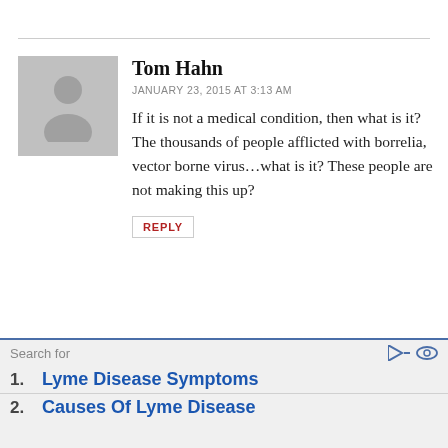Tom Hahn
JANUARY 23, 2015 AT 3:13 AM
If it is not a medical condition, then what is it? The thousands of people afflicted with borrelia, vector borne virus…what is it? These people are not making this up?
REPLY
Search for
1. Lyme Disease Symptoms
2. Causes Of Lyme Disease